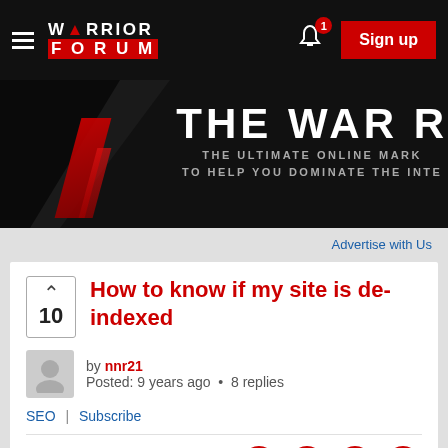Warrior Forum – Sign up
[Figure (illustration): Warrior Forum banner: dark background with red geometric accent and white bold text 'THE WAR R' and 'THE ULTIMATE ONLINE MARK / TO HELP YOU DOMINATE THE INTE']
Advertise with Us
How to know if my site is de-indexed
by nnr21
Posted: 9 years ago • 8 replies
SEO | Subscribe
[Figure (illustration): Social share icons: Facebook, Twitter, Google+, Reddit – circular red-outlined icons]